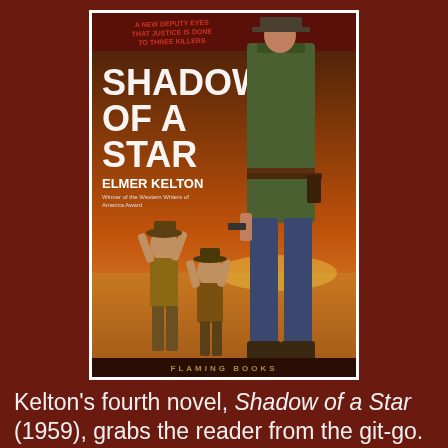[Figure (illustration): Book cover of 'Shadow of a Star' by Elmer Kelton. Features a cowboy standing from behind with a gun holster, wearing jeans and a green jacket. In the foreground, two men have their hands raised. The background shows a desert landscape with warm orange and brown tones. Text on cover reads: 'A NEW DEPUTY EYES THAT JUSTICE IS DONE TO THREE KILLERS', 'SHADOW OF A STAR', 'ELMER KELTON', 'FLAMING BOOKS'.]
Kelton's fourth novel, Shadow of a Star (1959), grabs the reader from the git-go. Page one puts us in Coldridge